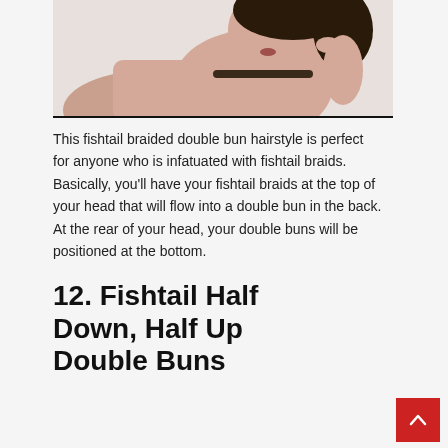[Figure (photo): A young woman wearing a pink/mauve cardigan and black choker necklace, photographed from the neck/chin area, showing a hairstyle. She has dark hair pulled up.]
This fishtail braided double bun hairstyle is perfect for anyone who is infatuated with fishtail braids. Basically, you'll have your fishtail braids at the top of your head that will flow into a double bun in the back. At the rear of your head, your double buns will be positioned at the bottom.
12. Fishtail Half Down, Half Up Double Buns